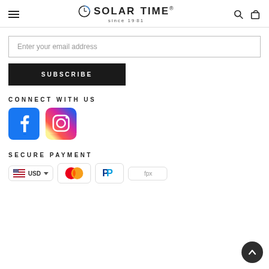Solar Time since 1981
Enter your email address
SUBSCRIBE
CONNECT WITH US
[Figure (logo): Facebook logo icon]
[Figure (logo): Instagram logo icon]
SECURE PAYMENT
[Figure (logo): USD currency selector with US flag]
[Figure (logo): Mastercard payment logo]
[Figure (logo): PayPal payment logo]
[Figure (logo): FPX payment logo]